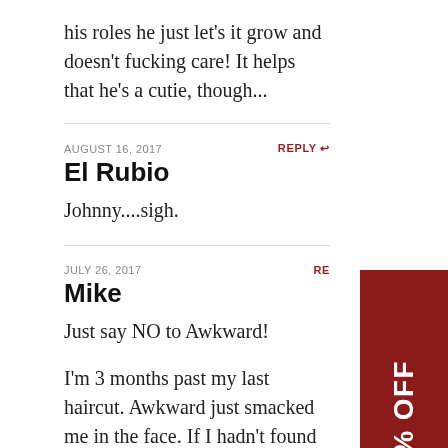his roles he just let's it grow and doesn't fucking care! It helps that he's a cutie, though...
AUGUST 16, 2017
REPLY
El Rubio
Johnny....sigh.
JULY 26, 2017
RE
Mike
Just say NO to Awkward!
I'm 3 months past my last haircut. Awkward just smacked me in the face. If I hadn't found The
[Figure (other): Red promotional badge rotated 90 degrees showing '20% OFF' in white text on dark red background]